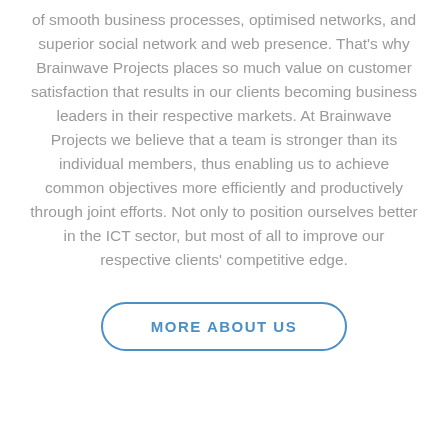of smooth business processes, optimised networks, and superior social network and web presence. That's why Brainwave Projects places so much value on customer satisfaction that results in our clients becoming business leaders in their respective markets. At Brainwave Projects we believe that a team is stronger than its individual members, thus enabling us to achieve common objectives more efficiently and productively through joint efforts. Not only to position ourselves better in the ICT sector, but most of all to improve our respective clients' competitive edge.
MORE ABOUT US